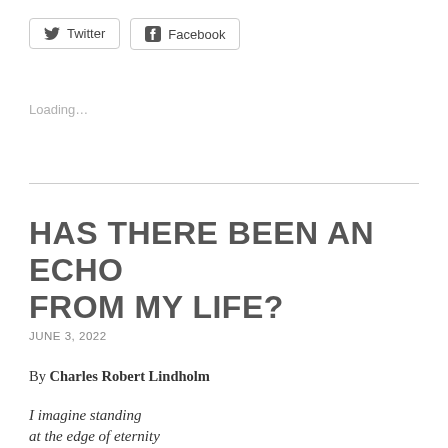[Figure (other): Twitter share button with bird icon]
[Figure (other): Facebook share button with f icon]
Loading...
HAS THERE BEEN AN ECHO FROM MY LIFE?
JUNE 3, 2022
By Charles Robert Lindholm
I imagine standing
at the edge of eternity